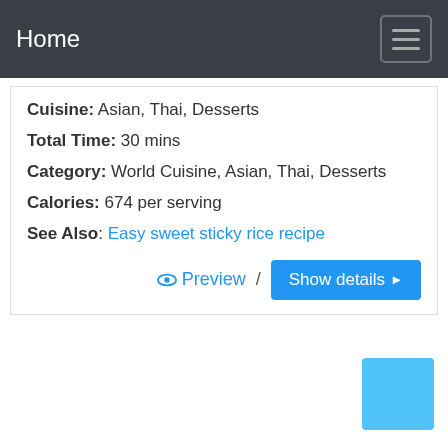Home
Cuisine: Asian, Thai, Desserts
Total Time: 30 mins
Category: World Cuisine, Asian, Thai, Desserts
Calories: 674 per serving
See Also: Easy sweet sticky rice recipe
Preview / Show details
[Figure (other): Light blue square button in bottom-right corner]